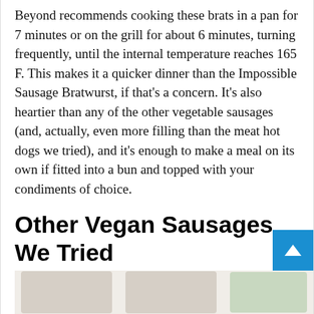Beyond recommends cooking these brats in a pan for 7 minutes or on the grill for about 6 minutes, turning frequently, until the internal temperature reaches 165 F. This makes it a quicker dinner than the Impossible Sausage Bratwurst, if that's a concern. It's also heartier than any of the other vegetable sausages (and, actually, even more filling than the meat hot dogs we tried), and it's enough to make a meal on its own if fitted into a bun and topped with your condiments of choice.
Other Vegan Sausages We Tried
Best Hot Dog If You're in a Hurry: Lightlife Smart Dog
[Figure (photo): Partial image strip at bottom of page showing food/product images]